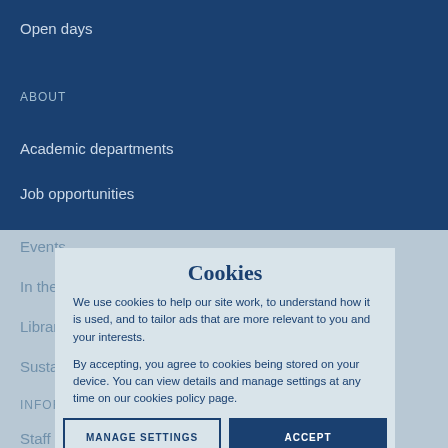Open days
ABOUT
Academic departments
Job opportunities
Events
In the community
Library
Sustainability
INFORMATION FOR
Staff
Cookies
We use cookies to help our site work, to understand how it is used, and to tailor ads that are more relevant to you and your interests.
By accepting, you agree to cookies being stored on your device. You can view details and manage settings at any time on our cookies policy page.
MANAGE SETTINGS
ACCEPT